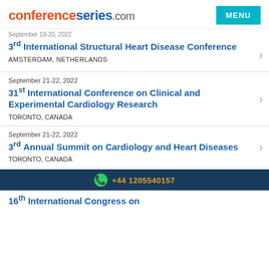conferenceseries.com
September 19-20, 2022
3rd International Structural Heart Disease Conference
AMSTERDAM, NETHERLANDS
September 21-22, 2022
31st International Conference on Clinical and Experimental Cardiology Research
TORONTO, CANADA
September 21-22, 2022
3rd Annual Summit on Cardiology and Heart Diseases
TORONTO, CANADA
+44 1205540157
16th International Congress on